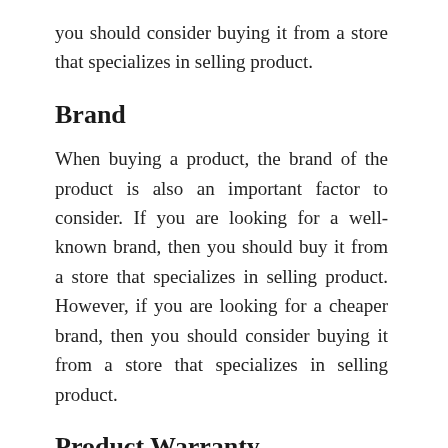you should consider buying it from a store that specializes in selling product.
Brand
When buying a product, the brand of the product is also an important factor to consider. If you are looking for a well-known brand, then you should buy it from a store that specializes in selling product. However, if you are looking for a cheaper brand, then you should consider buying it from a store that specializes in selling product.
Product Warranty
When you buy a product, you should also consider the warranty of the product. The longer the warranty, the better. If you are